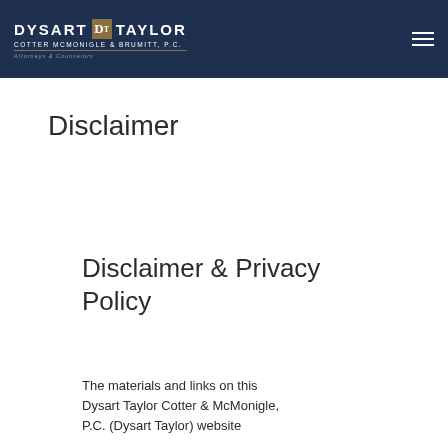DYSART TAYLOR COTTER McMONIGLE & BRUMITT, P.C. — Attorneys & Counselors
Disclaimer
Disclaimer & Privacy Policy
The materials and links on this Dysart Taylor Cotter & McMonigle, P.C. (Dysart Taylor) website